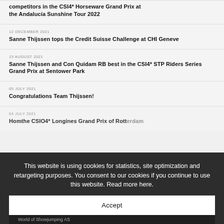competitors in the CSI4* Horseware Grand Prix at the Andalucía Sunshine Tour 2022
12 DECEMBER 2021
Sanne Thijssen tops the Credit Suisse Challenge at CHI Geneve
15 AUGUST 2021
Sanne Thijssen and Con Quidam RB best in the CSI4* STP Riders Series Grand Prix at Sentower Park
05 JULY 2021
Congratulations Team Thijssen!
04 JULY 2021
Home... the CSIO4* Longines Grand Prix of Rotterdam
This website is using cookies for statistics, site optimization and retargeting purposes. You consent to our cookies if you continue to use this website. Read more here.
Accept
World of Showjumping AS